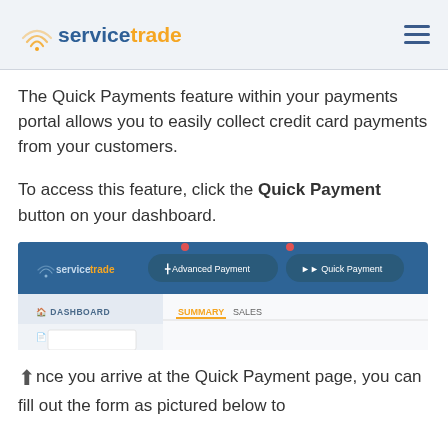servicetrade
The Quick Payments feature within your payments portal allows you to easily collect credit card payments from your customers.
To access this feature, click the Quick Payment button on your dashboard.
[Figure (screenshot): Screenshot of ServiceTrade dashboard navigation bar showing 'Advanced Payment' and 'Quick Payment' buttons, with Dashboard and Reports menu items visible below, with SUMMARY and SALES tabs.]
Once you arrive at the Quick Payment page, you can fill out the form as pictured below to